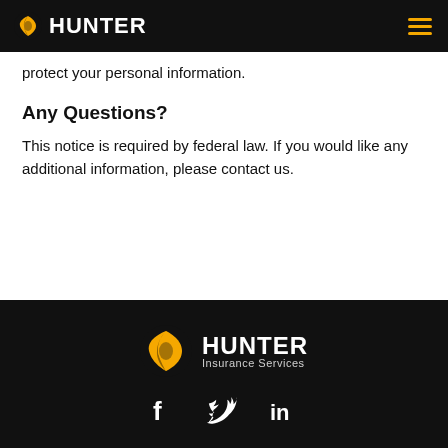HUNTER
protect your personal information.
Any Questions?
This notice is required by federal law. If you would like any additional information, please contact us.
[Figure (logo): Hunter Insurance Services logo with icon and text in footer]
[Figure (infographic): Social media icons: Facebook (f), Twitter (bird), LinkedIn (in)]